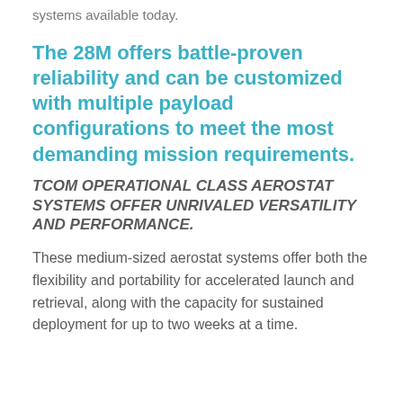systems available today.
The 28M offers battle-proven reliability and can be customized with multiple payload configurations to meet the most demanding mission requirements.
TCOM OPERATIONAL CLASS AEROSTAT SYSTEMS OFFER UNRIVALED VERSATILITY AND PERFORMANCE.
These medium-sized aerostat systems offer both the flexibility and portability for accelerated launch and retrieval, along with the capacity for sustained deployment for up to two weeks at a time.